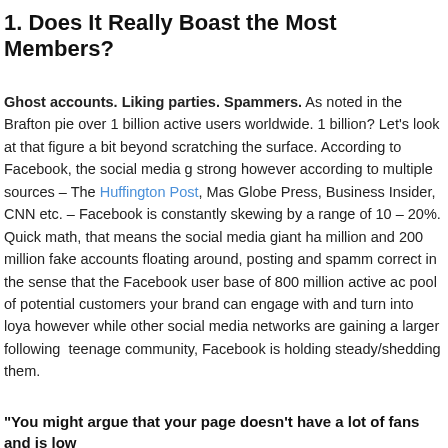1. Does It Really Boast the Most Members?
Ghost accounts. Liking parties. Spammers. As noted in the Brafton piece over 1 billion active users worldwide. 1 billion? Let's look at that figure a bit beyond scratching the surface. According to Facebook, the social media g... strong however according to multiple sources – The Huffington Post, Mas... Globe Press, Business Insider, CNN etc. – Facebook is constantly skewing by a range of 10 – 20%. Quick math, that means the social media giant ha... million and 200 million fake accounts floating around, posting and spamm... correct in the sense that the Facebook user base of 800 million active ac... pool of potential customers your brand can engage with and turn into loya... however while other social media networks are gaining a larger following ... teenage community, Facebook is holding steady/shedding them.
"You might argue that your page doesn't have a lot of fans and is low...
Another good consideration by the folks at Brafton however let's look at t... also. When it comes to getting likes and amassing a following, there is...